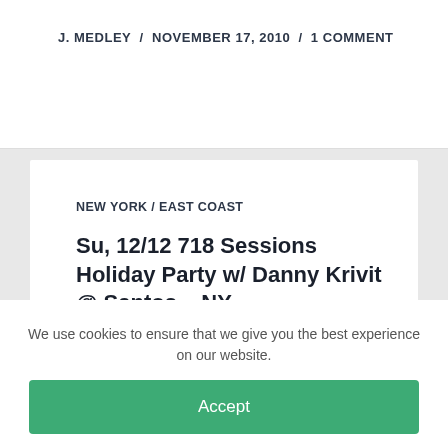J. MEDLEY / NOVEMBER 17, 2010 / 1 COMMENT
NEW YORK / EAST COAST
Su, 12/12 718 Sessions Holiday Party w/ Danny Krivit @ Santos – NY
Sunday December 12th Benny Soto Presents 718 SESSIONS Holiday Party! Music BY DANNY KRIVIT All Night long www.dannykrivit.net Special Guest Brian
We use cookies to ensure that we give you the best experience on our website.